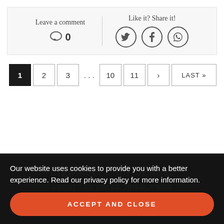Leave a comment
0
Like it? Share it!
[Figure (infographic): Social share icons: Twitter, Facebook, WhatsApp]
1  2  3  ...  10  11  >  LAST»
high heel confidential
ABOUT   AD SPACE   DISCLAIMER
CONTACT US   PRIVACY POLICY
Our website uses cookies to provide you with a better experience. Read our privacy policy for more information.
ACCEPT AND CLOSE